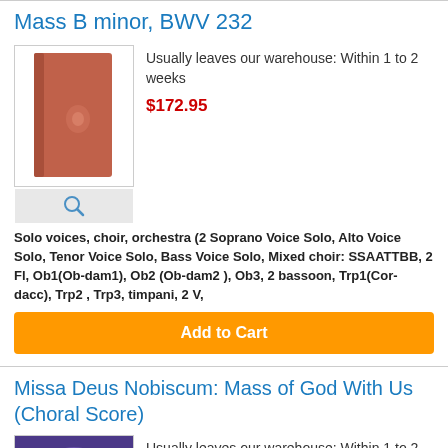Mass B minor, BWV 232
Usually leaves our warehouse: Within 1 to 2 weeks
$172.95
[Figure (photo): Red/terracotta colored hardcover book (Mass B minor score)]
Solo voices, choir, orchestra (2 Soprano Voice Solo, Alto Voice Solo, Tenor Voice Solo, Bass Voice Solo, Mixed choir: SSAATTBB, 2 Fl, Ob1(Ob-dam1), Ob2 (Ob-dam2 ), Ob3, 2 bassoon, Trp1(Cor-dacc), Trp2 , Trp3, timpani, 2 V,
Add to Cart
Missa Deus Nobiscum: Mass of God With Us (Choral Score)
Usually leaves our warehouse: Within 1 to 2 weeks
[Figure (photo): Purple/blue nebula or cosmic image on book cover]